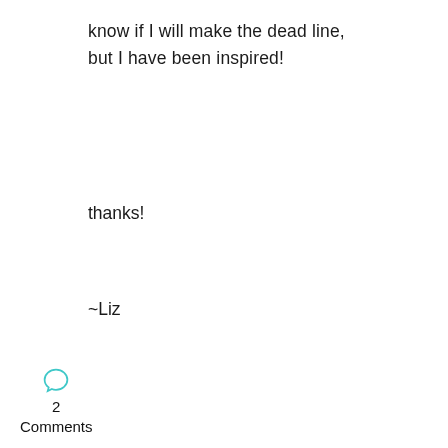know if I will make the dead line, but I have been inspired!
thanks!
~Liz
Leave a Reply
Your email address will not be
2
Comments